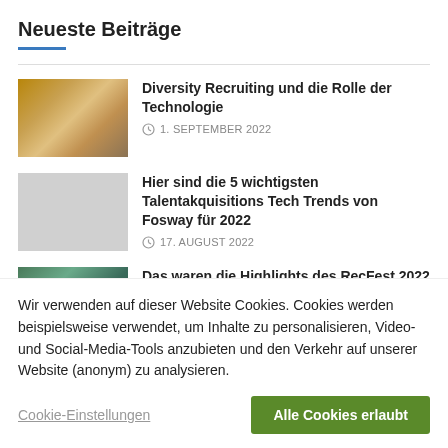Neueste Beiträge
Diversity Recruiting und die Rolle der Technologie — 1. SEPTEMBER 2022
Hier sind die 5 wichtigsten Talentakquisitions Tech Trends von Fosway für 2022 — 17. AUGUST 2022
Das waren die Highlights des RecFest 2022 in London (Video) — 8. AUGUST 2022
Wir verwenden auf dieser Website Cookies. Cookies werden beispielsweise verwendet, um Inhalte zu personalisieren, Video- und Social-Media-Tools anzubieten und den Verkehr auf unserer Website (anonym) zu analysieren.
Cookie-Einstellungen  Alle Cookies erlaubt